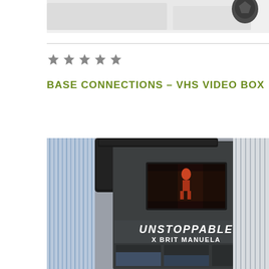[Figure (photo): Partial product image at top of page, cropped]
★★★★★
BASE CONNECTIONS - VHS VIDEO BOX
[Figure (photo): Photo of an open VHS video box labeled UNSTOPPABLE X BRIT MANUELA, showing a small screen with an image, surrounded by clothing on a rack]